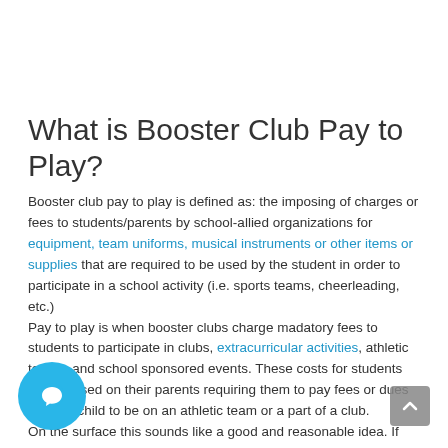What is Booster Club Pay to Play?
Booster club pay to play is defined as: the imposing of charges or fees to students/parents by school-allied organizations for equipment, team uniforms, musical instruments or other items or supplies that are required to be used by the student in order to participate in a school activity (i.e. sports teams, cheerleading, etc.)
Pay to play is when booster clubs charge madatory fees to students to participate in clubs, extracurricular activities, athletic teams, and school sponsored events. These costs for students are imposed on their parents requiring them to pay fees or dues for their child to be on an athletic team or a part of a club.
On the surface this sounds like a good and reasonable idea. If students want new uniforms or equipment and they raise the costs for themselves, they should get it and not those who did not work for it. If a student wants to be a part of a team or club bad enough then they can just pay to be a member, what's the issue?